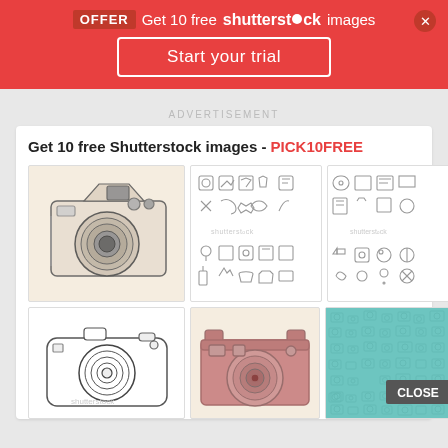[Figure (screenshot): Shutterstock promotional banner with red background. Shows OFFER badge, 'Get 10 free shutterstock images' text, 'Start your trial' button, and close X button.]
ADVERTISEMENT
Get 10 free Shutterstock images - PICK10FREE
[Figure (illustration): Hand-drawn sketch of a DSLR camera on beige background]
[Figure (illustration): Icon set grid showing various thin-line icons (camera, image, folder, megaphone, pencil, phone, scissors, music note, leaf, microphone, printer, camera, email, floppy disk, phone handset, pen, marker, scissors, pen) with shutterstock watermark]
[Figure (illustration): Icon set grid showing various thin-line icons (chat bubble, contact card, email, monitor, document, pencil, paperclip, map pin, play button, camera, emoji, microphone, phone, magnifier, person, settings) with shutterstock watermark]
[Figure (illustration): Hand-drawn outline sketch of a compact point-and-shoot camera with shutterstock watermark]
[Figure (illustration): Vintage pink/rose colored film camera illustration on beige background]
[Figure (illustration): Teal/turquoise pattern background with camera and photography icons, with CLOSE button overlay]